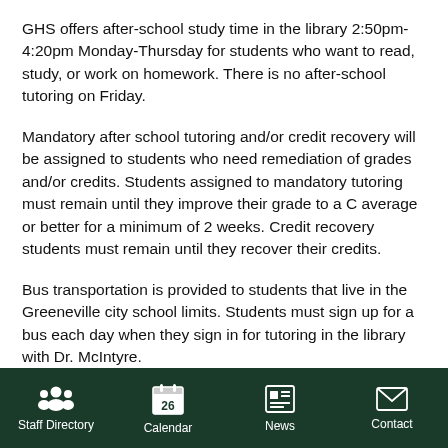GHS offers after-school study time in the library 2:50pm-4:20pm Monday-Thursday for students who want to read, study, or work on homework. There is no after-school tutoring on Friday.
Mandatory after school tutoring and/or credit recovery will be assigned to students who need remediation of grades and/or credits. Students assigned to mandatory tutoring must remain until they improve their grade to a C average or better for a minimum of 2 weeks. Credit recovery students must remain until they recover their credits.
Bus transportation is provided to students that live in the Greeneville city school limits. Students must sign up for a bus each day when they sign in for tutoring in the library with Dr. McIntyre.
Staff Directory  Calendar  News  Contact